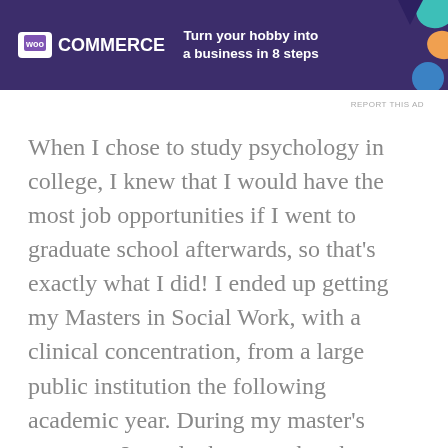[Figure (other): WooCommerce advertisement banner with purple background. Shows WooCommerce logo on left and text 'Turn your hobby into a business in 8 steps' with colorful abstract shapes on right.]
REPORT THIS AD
When I chose to study psychology in college, I knew that I would have the most job opportunities if I went to graduate school afterwards, so that's exactly what I did! I ended up getting my Masters in Social Work, with a clinical concentration, from a large public institution the following academic year. During my master's program, I was lucky enough to have two amazing field placements. First, I worked with high school students doing one-on-one therapy addressing various